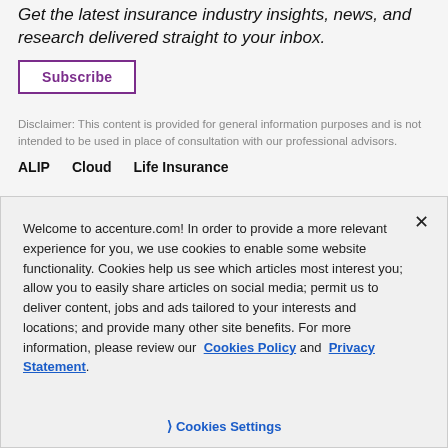Get the latest insurance industry insights, news, and research delivered straight to your inbox.
Subscribe
Disclaimer: This content is provided for general information purposes and is not intended to be used in place of consultation with our professional advisors.
ALIP   Cloud   Life Insurance
Welcome to accenture.com! In order to provide a more relevant experience for you, we use cookies to enable some website functionality. Cookies help us see which articles most interest you; allow you to easily share articles on social media; permit us to deliver content, jobs and ads tailored to your interests and locations; and provide many other site benefits. For more information, please review our Cookies Policy and Privacy Statement.
Cookies Settings